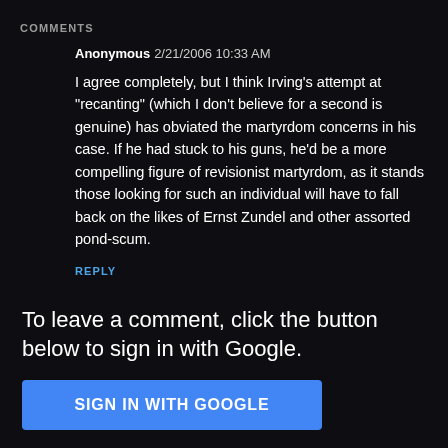COMMENTS
Anonymous  2/21/2006 10:33 AM
I agree completely, but I think Irving's attempt at "recanting" (which I don't believe for a second is genuine) has obviated the martyrdom concerns in his case. If he had stuck to his guns, he'd be a more compelling figure of revisionist martyrdom, as it stands those looking for such an individual will have to fall back on the likes of Ernst Zundel and other assorted pond-scum.
REPLY
To leave a comment, click the button below to sign in with Google.
[Figure (other): SIGN IN WITH GOOGLE button — a blue rectangular button with white uppercase text]